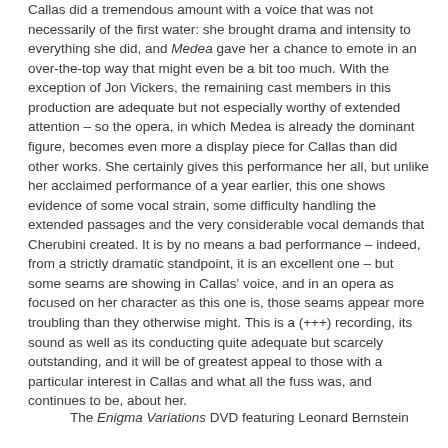Callas did a tremendous amount with a voice that was not necessarily of the first water: she brought drama and intensity to everything she did, and Medea gave her a chance to emote in an over-the-top way that might even be a bit too much. With the exception of Jon Vickers, the remaining cast members in this production are adequate but not especially worthy of extended attention – so the opera, in which Medea is already the dominant figure, becomes even more a display piece for Callas than did other works. She certainly gives this performance her all, but unlike her acclaimed performance of a year earlier, this one shows evidence of some vocal strain, some difficulty handling the extended passages and the very considerable vocal demands that Cherubini created. It is by no means a bad performance – indeed, from a strictly dramatic standpoint, it is an excellent one – but some seams are showing in Callas' voice, and in an opera as focused on her character as this one is, those seams appear more troubling than they otherwise might. This is a (+++) recording, its sound as well as its conducting quite adequate but scarcely outstanding, and it will be of greatest appeal to those with a particular interest in Callas and what all the fuss was, and continues to be, about her.
The Enigma Variations DVD featuring Leonard Bernstein